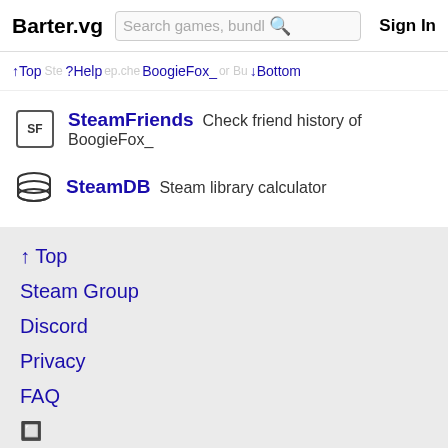Barter.vg | Search games, bundles | Sign In
↑Top ?Help BoogieFox_ ↓Bottom
SteamFriends Check friend history of BoogieFox_
SteamDB Steam library calculator
↑ Top
Steam Group
Discord
Privacy
FAQ
🔲